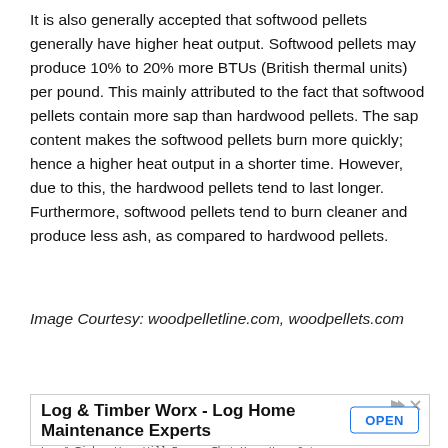It is also generally accepted that softwood pellets generally have higher heat output. Softwood pellets may produce 10% to 20% more BTUs (British thermal units) per pound. This mainly attributed to the fact that softwood pellets contain more sap than hardwood pellets. The sap content makes the softwood pellets burn more quickly; hence a higher heat output in a shorter time. However, due to this, the hardwood pellets tend to last longer. Furthermore, softwood pellets tend to burn cleaner and produce less ash, as compared to hardwood pellets.
Image Courtesy: woodpelletline.com, woodpellets.com
[Figure (other): Tweet button with Twitter bird icon]
[Figure (other): Advertisement banner for Log & Timber Worx - Log Home Maintenance Experts with an OPEN button. Subtext: Log & Timber Worx Will Ensure That Your Home Gets The Complete Package. logandtimberworx.com]